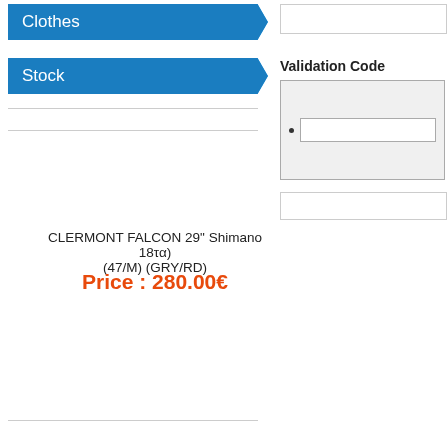Clothes
Stock
Validation Code
[Figure (screenshot): UI validation code input area with dot and text input field inside a grey bordered box]
CLERMONT FALCON 29" Shimano 18τα) (47/M) (GRY/RD)
Price : 280.00€